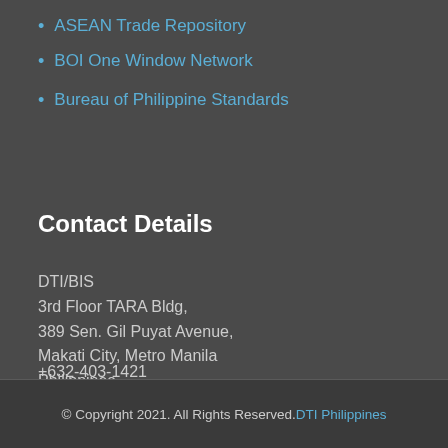ASEAN Trade Repository
BOI One Window Network
Bureau of Philippine Standards
Contact Details
DTI/BIS
3rd Floor TARA Bldg,
389 Sen. Gil Puyat Avenue,
Makati City, Metro Manila
Philippines
+632-403-1421
bis_pntr@dti.gov.ph
© Copyright 2021. All Rights Reserved. DTI Philippines